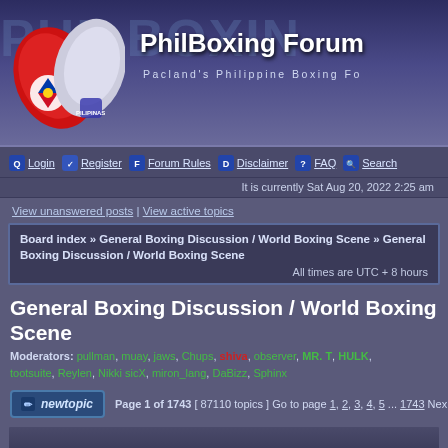[Figure (illustration): PhilBoxing Forum banner with Philippine boxing gloves logo and site title]
Login | Register | Forum Rules | Disclaimer | FAQ | Search
It is currently Sat Aug 20, 2022 2:25 am
View unanswered posts | View active topics
Board index » General Boxing Discussion / World Boxing Scene » General Boxing Discussion / World Boxing Scene
All times are UTC + 8 hours
General Boxing Discussion / World Boxing Scene
Moderators: pullman, muay, jaws, Chups, shiva, observer, MR. T, HULK, tootsuite, Reylen, Nikki sicX, miron_lang, DaBizz, Sphinx
Page 1 of 1743  [ 87110 topics ]  Go to page 1, 2, 3, 4, 5 ... 1743  Nex